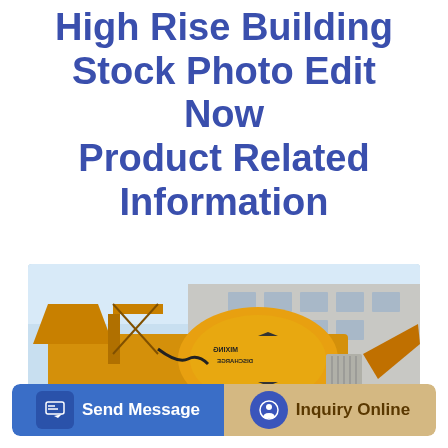High Rise Building Stock Photo Edit Now Product Related Information
[Figure (photo): Yellow concrete mixer pump machine (labeled 'CONCRETE MIXER PUMP') parked in front of an industrial building. The large cylindrical drum is yellow with text on it.]
Send Message
Inquiry Online